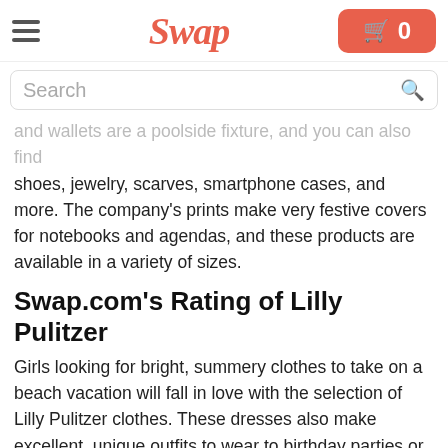Swap
and wallets are a poolside fixture, and you can also find shoes, jewelry, scarves, smartphone cases, and more. The company's prints make very festive covers for notebooks and agendas, and these products are available in a variety of sizes.
Swap.com's Rating of Lilly Pulitzer
Girls looking for bright, summery clothes to take on a beach vacation will fall in love with the selection of Lilly Pulitzer clothes. These dresses also make excellent, unique outfits to wear to birthday parties or other special occasions. Older kids and teens will appreciate how stylish and chic the Lilly Pulitzer dresses for women will make them look while still being able to show off bright colors and festive patterns. All of the company's products are designed from a spill-proof color palette that draws inspiration from beaches, gardens, museums, and more. You are guaranteed to make a